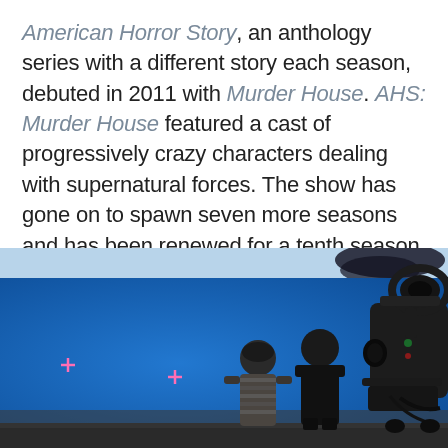American Horror Story, an anthology series with a different story each season, debuted in 2011 with Murder House. AHS: Murder House featured a cast of progressively crazy characters dealing with supernatural forces. The show has gone on to spawn seven more seasons and has been renewed for a tenth season.
[Figure (photo): Behind-the-scenes photo of a film set with a blue screen background. Two people stand in front of the blue screen — a woman in a striped top and a man in dark clothing. A large film camera rig is visible on the right side. Pink tracking markers (plus signs) are visible on the blue screen. The top of the image shows a lighter blue area with a dark blurred object at upper right.]